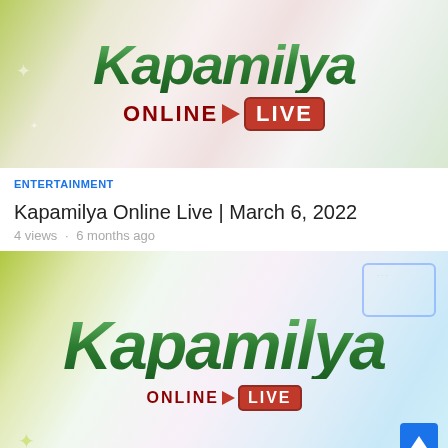[Figure (screenshot): Kapamilya Online Live logo thumbnail - green Kapamilya text with dark red ONLINE and red LIVE box]
ENTERTAINMENT
Kapamilya Online Live | March 6, 2022
4 views · 6 months ago
[Figure (screenshot): Kapamilya Online Live logo thumbnail - green Kapamilya text with dark red ONLINE and red LIVE box, larger version]